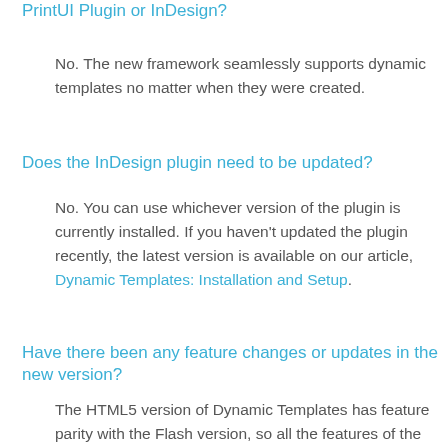PrintUI Plugin or InDesign?
No.  The new framework seamlessly supports dynamic templates no matter when they were created.
Does the InDesign plugin need to be updated?
No.  You can use whichever version of the plugin is currently installed.  If you haven't updated the plugin recently, the latest version is available on our article, Dynamic Templates: Installation and Setup.
Have there been any feature changes or updates in the new version?
The HTML5 version of Dynamic Templates has feature parity with the Flash version, so all the features of the Flash version are available.  You will not need to make any changes to your system preferences to keep these features.  The HTML5 version also has some additional